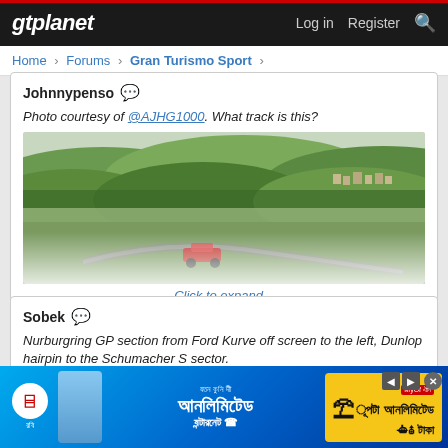gtplanet — Log in  Register
Home > Forums > Gran Turismo Sport >
Johnnypenso — Photo courtesy of @AJHG1000. What track is this?
[Figure (photo): Screenshot from Gran Turismo Sport showing a racing car on a track with rolling green hills and a village in the background. Image is partially faded at bottom with a 'Click to expand...' link.]
Click to expand...
Sobek — Nurburgring GP section from Ford Kurve off screen to the left, Dunlop hairpin to the Schumacher S sector.
[Figure (photo): Advertisement banner for Robi telecom in Bengali language offering unlimited internet data.]